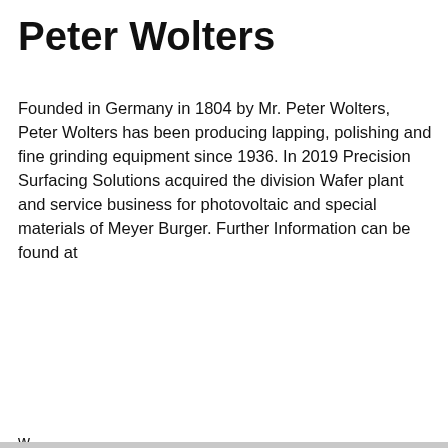Peter Wolters
Founded in Germany in 1804 by Mr. Peter Wolters, Peter Wolters has been producing lapping, polishing and fine grinding equipment since 1936. In 2019 Precision Surfacing Solutions acquired the division Wafer plant and service business for photovoltaic and special materials of Meyer Burger. Further Information can be found at
[Figure (screenshot): Cookie consent modal dialog overlaying page content. Contains title 'Cookie consent', body text about website cookies, a 'Preferences' button with border, and a blue 'Accept All' button.]